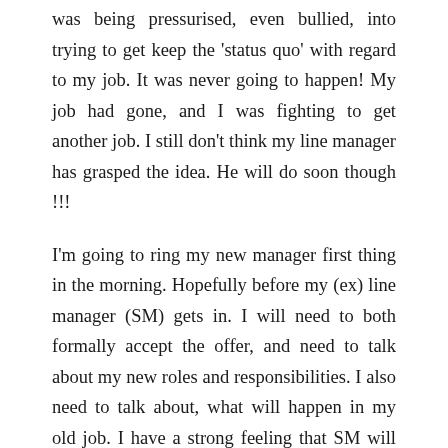was being pressurised, even bullied, into trying to get keep the 'status quo' with regard to my job. It was never going to happen! My job had gone, and I was fighting to get another job. I still don't think my line manager has grasped the idea. He will do soon though !!!
I'm going to ring my new manager first thing in the morning. Hopefully before my (ex) line manager (SM) gets in. I will need to both formally accept the offer, and need to talk about my new roles and responsibilities. I also need to talk about, what will happen in my old job. I have a strong feeling that SM will try and cause some trouble. He has already dismissed my new manager as not knowing what things are about. Some of his comments,